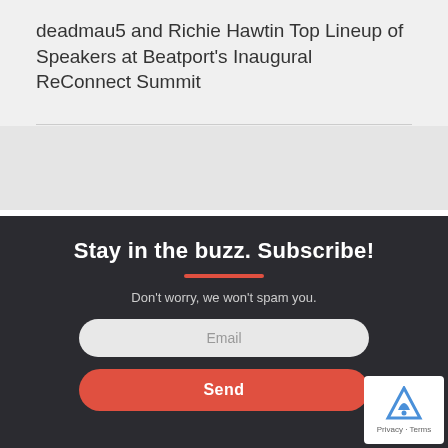deadmau5 and Richie Hawtin Top Lineup of Speakers at Beatport's Inaugural ReConnect Summit
Stay in the buzz. Subscribe!
Don't worry, we won't spam you.
Email
Send